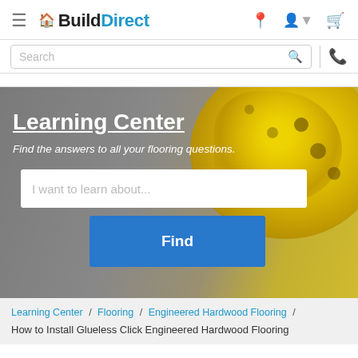BuildDirect
Search
[Figure (screenshot): Hero banner image showing a blurred background with a yellow tape measure in the upper right corner. Contains the Learning Center heading, subtitle, a search input, and a Find button.]
Learning Center
Find the answers to all your flooring questions.
I want to learn about...
Find
Learning Center / Flooring / Engineered Hardwood Flooring / How to Install Glueless Click Engineered Hardwood Flooring